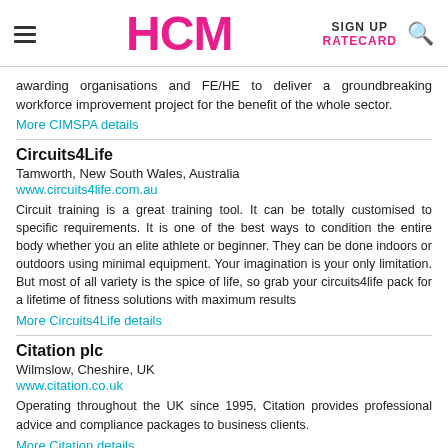HCM | SIGN UP | RATECARD
awarding organisations and FE/HE to deliver a groundbreaking workforce improvement project for the benefit of the whole sector.
More CIMSPA details
Circuits4Life
Tamworth, New South Wales, Australia
www.circuits4life.com.au
Circuit training is a great training tool. It can be totally customised to specific requirements. It is one of the best ways to condition the entire body whether you an elite athlete or beginner. They can be done indoors or outdoors using minimal equipment. Your imagination is your only limitation. But most of all variety is the spice of life, so grab your circuits4life pack for a lifetime of fitness solutions with maximum results
More Circuits4Life details
Citation plc
Wilmslow, Cheshire, UK
www.citation.co.uk
Operating throughout the UK since 1995, Citation provides professional advice and compliance packages to business clients.
More Citation details